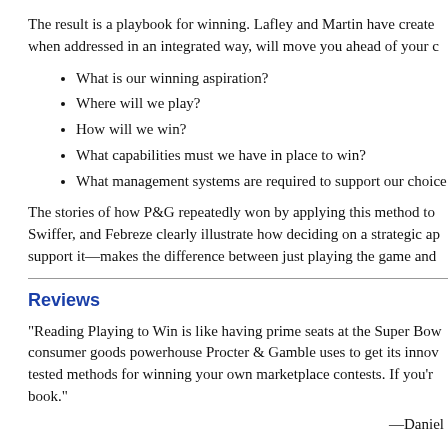The result is a playbook for winning. Lafley and Martin have created when addressed in an integrated way, will move you ahead of your c
What is our winning aspiration?
Where will we play?
How will we win?
What capabilities must we have in place to win?
What management systems are required to support our choice
The stories of how P&G repeatedly won by applying this method to Swiffer, and Febreze clearly illustrate how deciding on a strategic ap support it—makes the difference between just playing the game and
Reviews
“Reading Playing to Win is like having prime seats at the Super Bow consumer goods powerhouse Procter & Gamble uses to get its innov tested methods for winning your own marketplace contests. If you’r book.”
—Daniel
“This is the best book on strategy I have ever read. Lafley and Marti make choices in order to control events rather than allowing events t this book sets down with calm authority the steps you must take to